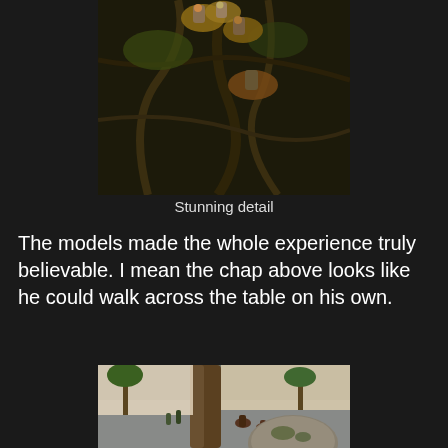[Figure (photo): Overhead view of detailed miniature wargaming figures on textured bases with roots and foliage on a dark gaming table surface]
Stunning detail
The models made the whole experience truly believable. I mean the chap above looks like he could walk across the table on his own.
[Figure (photo): Wargaming table scene showing miniature figures near large tree trunks, buildings, and palm trees in a jungle/courtyard setting with a large round stone or creature in the foreground]